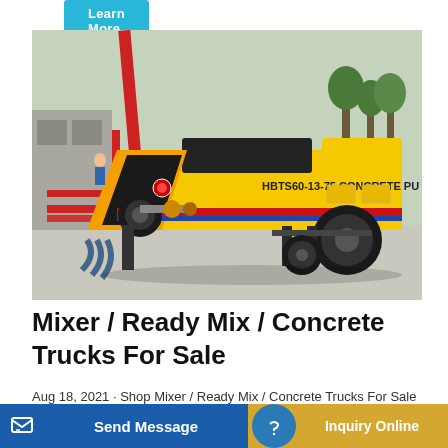Learn More
[Figure (photo): Yellow HBTS60-13-75 Concrete Pump machine on a construction site, with a red crane in the background and trees visible.]
Mixer / Ready Mix / Concrete Trucks For Sale
Aug 18, 2021 · Shop Mixer / Ready Mix / Concrete Trucks For Sale near you... ks by M
Send Message
Inquiry Online